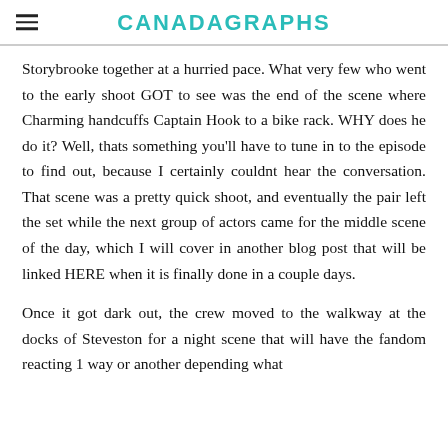CANADAGRAPHS
Storybrooke together at a hurried pace. What very few who went to the early shoot GOT to see was the end of the scene where Charming handcuffs Captain Hook to a bike rack. WHY does he do it? Well, thats something you'll have to tune in to the episode to find out, because I certainly couldnt hear the conversation. That scene was a pretty quick shoot, and eventually the pair left the set while the next group of actors came for the middle scene of the day, which I will cover in another blog post that will be linked HERE when it is finally done in a couple days.
Once it got dark out, the crew moved to the walkway at the docks of Steveston for a night scene that will have the fandom reacting 1 way or another depending what...